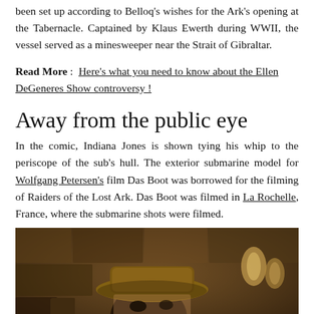been set up according to Belloq's wishes for the Ark's opening at the Tabernacle. Captained by Klaus Ewerth during WWII, the vessel served as a minesweeper near the Strait of Gibraltar.
Read More : Here's what you need to know about the Ellen DeGeneres Show controversy !
Away from the public eye
In the comic, Indiana Jones is shown tying his whip to the periscope of the sub's hull. The exterior submarine model for Wolfgang Petersen's film Das Boot was borrowed for the filming of Raiders of the Lost Ark. Das Boot was filmed in La Rochelle, France, where the submarine shots were filmed.
[Figure (photo): A man wearing a brown fedora hat, partially obscured, peeking out from behind a surface. Likely Indiana Jones character from Raiders of the Lost Ark.]